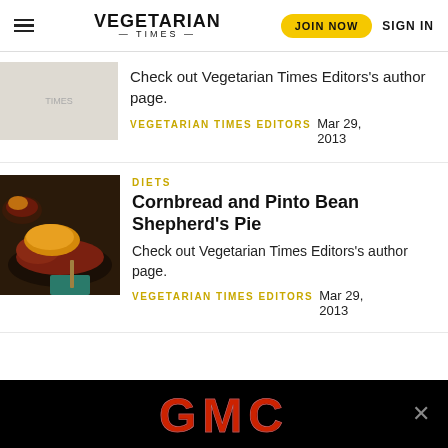VEGETARIAN TIMES | JOIN NOW | SIGN IN
Check out Vegetarian Times Editors's author page.
VEGETARIAN TIMES EDITORS   Mar 29, 2013
DIETS
Cornbread and Pinto Bean Shepherd's Pie
Check out Vegetarian Times Editors's author page.
VEGETARIAN TIMES EDITORS   Mar 29, 2013
[Figure (photo): GMC advertisement banner with red GMC logo on black background]